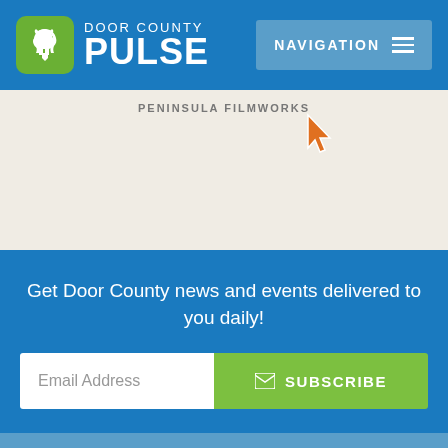[Figure (logo): Door County Pulse logo with white rabbit silhouette on green rounded square, white text 'DOOR COUNTY PULSE']
[Figure (screenshot): Navigation button with 'NAVIGATION' text and hamburger menu icon on blue-gray background]
[Figure (map): Map section showing 'PENINSULA FILMWORKS' label and an orange map marker pin, beige/tan map background]
Get Door County news and events delivered to you daily!
Email Address
SUBSCRIBE